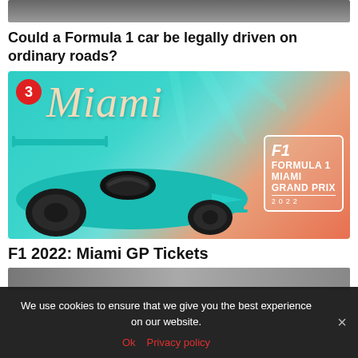[Figure (photo): Top portion of an article image, partially visible at the top of the page]
Could a Formula 1 car be legally driven on ordinary roads?
[Figure (photo): Formula 1 Miami Grand Prix 2022 promotional image featuring a teal/turquoise F1 car with Miami script text and F1 Formula 1 Miami Grand Prix 2022 logo badge. Number 3 badge in red circle at top left.]
F1 2022: Miami GP Tickets
[Figure (photo): Bottom article image strip, partially visible]
We use cookies to ensure that we give you the best experience on our website.
Ok  Privacy policy